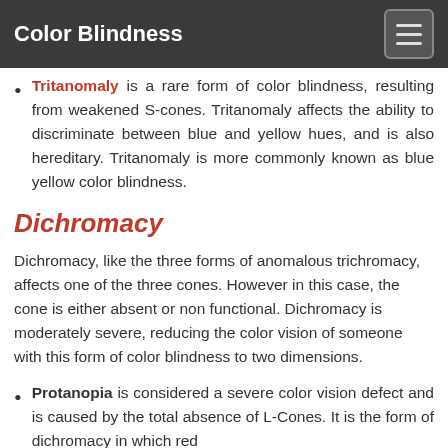Color Blindness
Tritanomaly is a rare form of color blindness, resulting from weakened S-cones. Tritanomaly affects the ability to discriminate between blue and yellow hues, and is also hereditary. Tritanomaly is more commonly known as blue yellow color blindness.
Dichromacy
Dichromacy, like the three forms of anomalous trichromacy, affects one of the three cones. However in this case, the cone is either absent or non functional. Dichromacy is moderately severe, reducing the color vision of someone with this form of color blindness to two dimensions.
Protanopia is considered a severe color vision defect and is caused by the total absence of L-Cones. It is the form of dichromacy in which red...